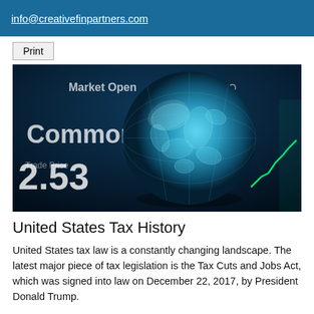info@creativefinpartners.com
[Figure (photo): A glass globe showing a world map, set against a dark blue financial market data screen background with stock ticker text ('Market Open', 'Common', '2.53') and a green upward trend line.]
United States Tax History
United States tax law is a constantly changing landscape. The latest major piece of tax legislation is the Tax Cuts and Jobs Act, which was signed into law on December 22, 2017, by President Donald Trump.